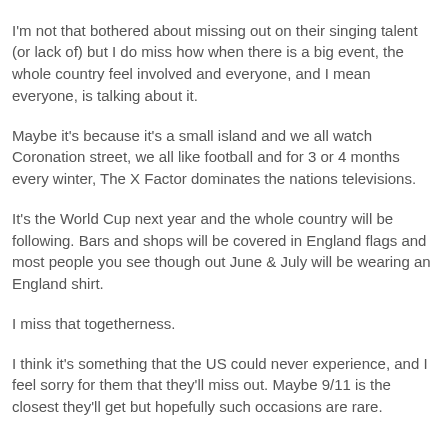Most people seem to hate them and their progress through the show is a huge talking point.
I'm not that bothered about missing out on their singing talent (or lack of) but I do miss how when there is a big event, the whole country feel involved and everyone, and I mean everyone, is talking about it.
Maybe it's because it's a small island and we all watch Coronation street, we all like football and for 3 or 4 months every winter, The X Factor dominates the nations televisions.
It's the World Cup next year and the whole country will be following. Bars and shops will be covered in England flags and most people you see though out June & July will be wearing an England shirt.
I miss that togetherness.
I think it's something that the US could never experience, and I feel sorry for them that they'll miss out. Maybe 9/11 is the closest they'll get but hopefully such occasions are rare.